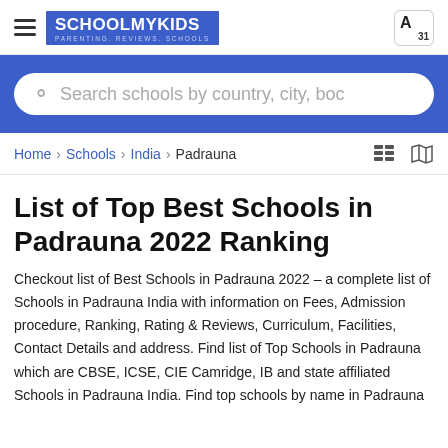[Figure (logo): SchoolMyKids logo with hamburger menu and translate icon in top navigation bar]
Search schools by country, city, boc
Home > Schools > India > Padrauna
List of Top Best Schools in Padrauna 2022 Ranking
Checkout list of Best Schools in Padrauna 2022 – a complete list of Schools in Padrauna India with information on Fees, Admission procedure, Ranking, Rating & Reviews, Curriculum, Facilities, Contact Details and address. Find list of Top Schools in Padrauna which are CBSE, ICSE, CIE Camridge, IB and state affiliated Schools in Padrauna India. Find top schools by name in Padrauna